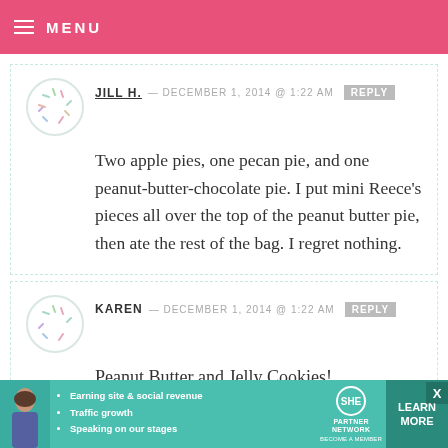MENU
JILL H. — DECEMBER 1, 2014 @ 1:22 AM  REPLY
Two apple pies, one pecan pie, and one peanut-butter-chocolate pie. I put mini Reece's pieces all over the top of the peanut butter pie, then ate the rest of the bag. I regret nothing.
KAREN — DECEMBER 1, 2014 @ 1:22 AM  REPLY
Peanut Butter and Jelly Cookies!
[Figure (infographic): Advertisement banner for SHE Partner Network with photo of woman, bullet points about earning site & social revenue, traffic growth, speaking on our stages, SHE logo, and LEARN MORE button]